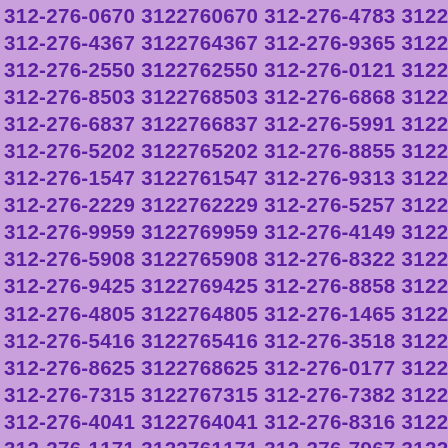312-276-0670 3122760670 312-276-4783 3122764783
312-276-4367 3122764367 312-276-9365 3122769365
312-276-2550 3122762550 312-276-0121 3122760121
312-276-8503 3122768503 312-276-6868 3122766868
312-276-6837 3122766837 312-276-5991 3122765991
312-276-5202 3122765202 312-276-8855 3122768855
312-276-1547 3122761547 312-276-9313 3122769313
312-276-2229 3122762229 312-276-5257 3122765257
312-276-9959 3122769959 312-276-4149 3122764149
312-276-5908 3122765908 312-276-8322 3122768322
312-276-9425 3122769425 312-276-8858 3122768858
312-276-4805 3122764805 312-276-1465 3122761465
312-276-5416 3122765416 312-276-3518 3122763518
312-276-8625 3122768625 312-276-0177 3122760177
312-276-7315 3122767315 312-276-7382 3122767382
312-276-4041 3122764041 312-276-8316 3122768316
312-276-1171 3122761171 312-276-7967 3122767967
312-276-8537 3122768537 312-276-2414 3122762414
312-276-6684 3122766684 312-276-0373 3122760373
312-276-1012 3122761012 312-276-0723 3122760723